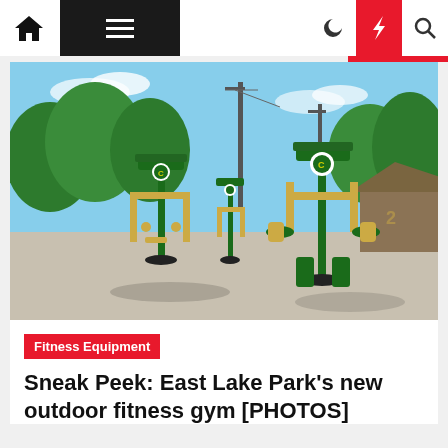Navigation bar with home icon, menu, dark mode, lightning, and search icons
[Figure (photo): Outdoor fitness gym at East Lake Park showing green and gold exercise machines on a concrete pad with trees and utility poles in the background under a blue sky]
Fitness Equipment
Sneak Peek: East Lake Park's new outdoor fitness gym [PHOTOS]